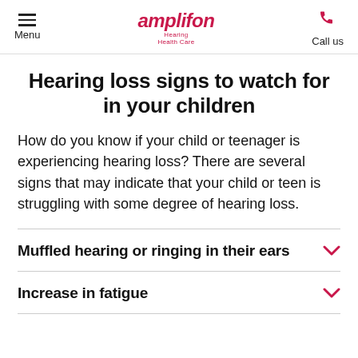Menu | amplifon Hearing Health Care | Call us
Hearing loss signs to watch for in your children
How do you know if your child or teenager is experiencing hearing loss? There are several signs that may indicate that your child or teen is struggling with some degree of hearing loss.
Muffled hearing or ringing in their ears
Increase in fatigue